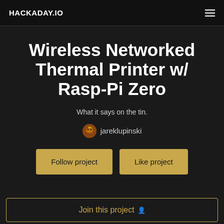HACKADAY.IO
Wireless Networked Thermal Printer w/ Rasp-Pi Zero
What it says on the tin.
jareklupinski
Follow project
Like project
Join this project